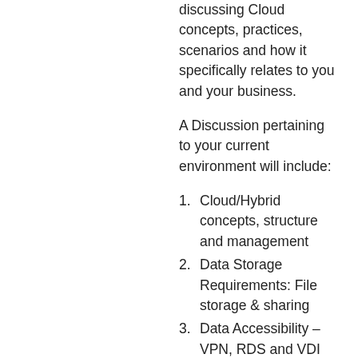discussing Cloud concepts, practices, scenarios and how it specifically relates to you and your business.
A Discussion pertaining to your current environment will include:
Cloud/Hybrid concepts, structure and management
Data Storage Requirements: File storage & sharing
Data Accessibility – VPN, RDS and VDI